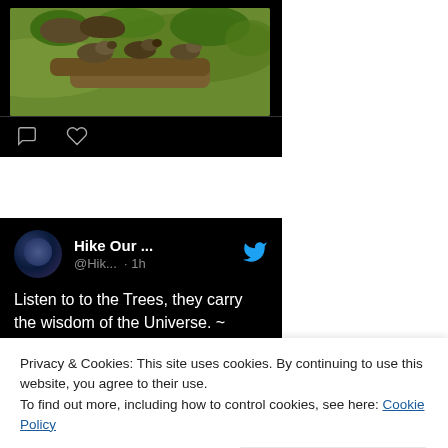[Figure (photo): Photo of birds perched on a tree branch with green foliage background]
[Figure (screenshot): Tweet from @Hike Our ... account with text: Listen to to the Trees, they carry the wisdom of the Universe. ~ @LeeHillerLondon #Nature #optoutside]
Privacy & Cookies: This site uses cookies. By continuing to use this website, you agree to their use.
To find out more, including how to control cookies, see here: Cookie Policy
Close and accept